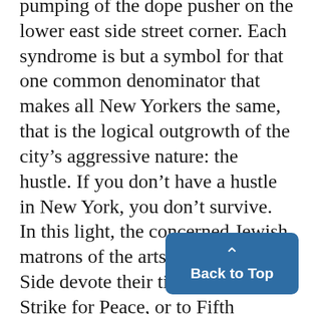pumping of the dope pusher on the lower east side street corner. Each syndrome is but a symbol for that one common denominator that makes all New Yorkers the same, that is the logical outgrowth of the city's aggressive nature: the hustle. If you don't have a hustle in New York, you don't survive. In this light, the concerned Jewish matrons of the artsy Upper West Side devote their time to Women Strike for Peace, or to Fifth Avenue Peace Parade Committee, not of the charitable and compassion